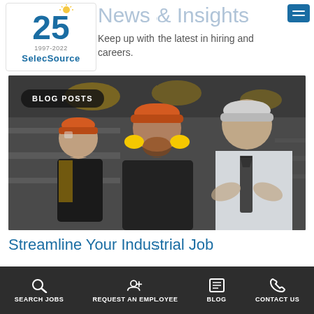[Figure (logo): SelecSource 25 years logo (1997-2022) with sun graphic and blue text]
News & Insights
Keep up with the latest in hiring and careers.
[Figure (photo): Three industrial workers posing with crossed arms: two wearing orange hard hats and work gear, one in business casual with tie. Factory background. Badge reads BLOG POSTS.]
Streamline Your Industrial Job
SEARCH JOBS  REQUEST AN EMPLOYEE  BLOG  CONTACT US